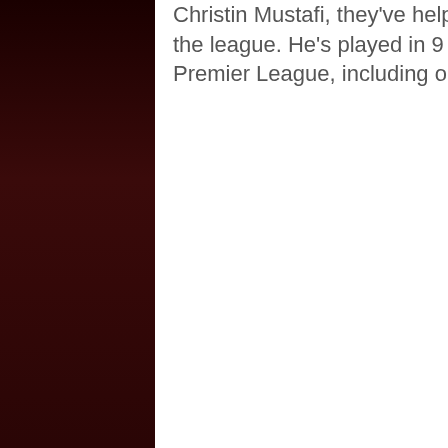Christin Mustafi, they've helped us to within touching distance of the top of the league. He's played in 9 games, and scored twice already in the Premier League, including our last minute winner at Burnley.
In early July, reports from Soccernews confirmed Bayern Munich and Real Madrid are were both sniffing around, showing an interest in signing Koscielny but both parties failed to push ahead for a deal.